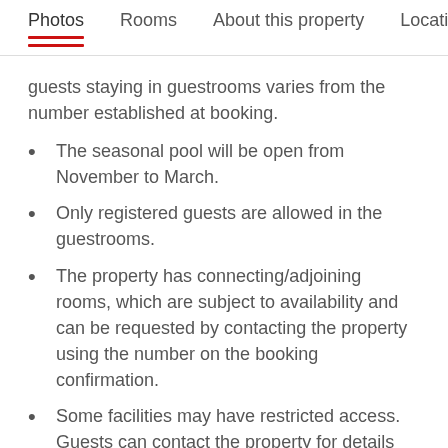Photos  Rooms  About this property  Location
guests staying in guestrooms varies from the number established at booking.
The seasonal pool will be open from November to March.
Only registered guests are allowed in the guestrooms.
The property has connecting/adjoining rooms, which are subject to availability and can be requested by contacting the property using the number on the booking confirmation.
Some facilities may have restricted access. Guests can contact the property for details using the contact information on the booking confirmation.
Alcohol is not permitted at this property.